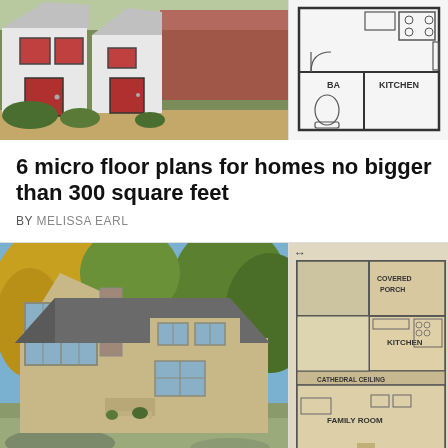[Figure (photo): White house with red doors and windows, surrounded by greenery]
[Figure (schematic): Small floor plan showing BA (bathroom) and KITCHEN layout]
6 micro floor plans for homes no bigger than 300 square feet
BY MELISSA EARL
[Figure (photo): Modern cottage/cabin exterior with large windows and stone chimney, surrounded by autumn trees]
[Figure (schematic): Floor plan showing COVERED PORCH, KITCHEN, CATHEDRAL CEILING, and FAMILY ROOM areas]
© SmallerLiving.org   About Ads   Terms   Privacy   Do Not Sell My Info